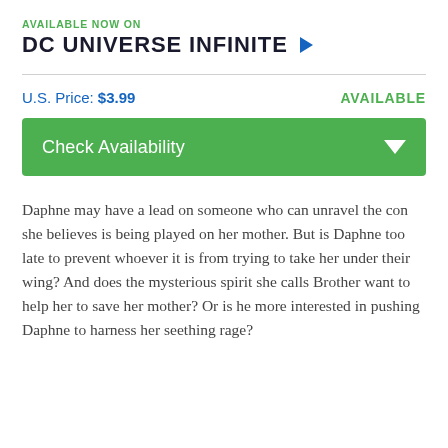AVAILABLE NOW ON
DC UNIVERSE INFINITE
U.S. Price: $3.99
AVAILABLE
Check Availability
Daphne may have a lead on someone who can unravel the con she believes is being played on her mother. But is Daphne too late to prevent whoever it is from trying to take her under their wing? And does the mysterious spirit she calls Brother want to help her to save her mother? Or is he more interested in pushing Daphne to harness her seething rage?